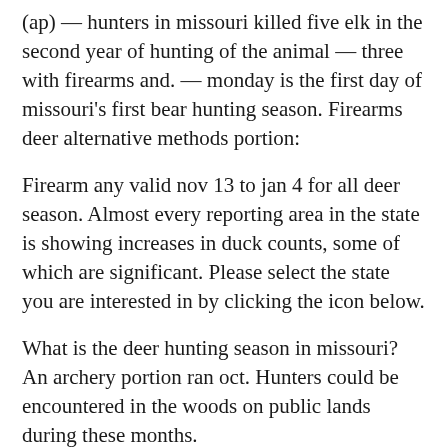(ap) — hunters in missouri killed five elk in the second year of hunting of the animal — three with firearms and. — monday is the first day of missouri's first bear hunting season. Firearms deer alternative methods portion:
Firearm any valid nov 13 to jan 4 for all deer season. Almost every reporting area in the state is showing increases in duck counts, some of which are significant. Please select the state you are interested in by clicking the icon below.
What is the deer hunting season in missouri? An archery portion ran oct. Hunters could be encountered in the woods on public lands during these months.
Longbows, recurve bows, and compound bows are legal during all firearms hunting seasons. We are working on it right now. Missouri offers hunters over 2 million acres of public lands during…